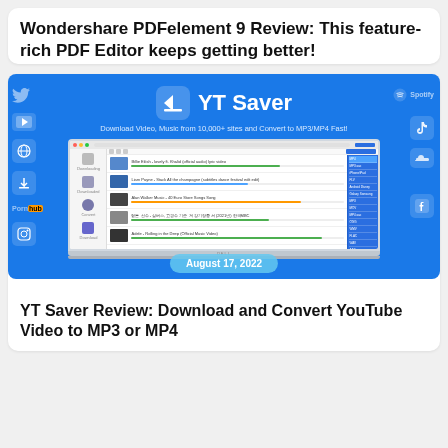Wondershare PDFelement 9 Review: This feature-rich PDF Editor keeps getting better!
[Figure (screenshot): YT Saver promotional banner showing the app interface on a Dell laptop with blue background. Includes YT Saver logo, subtitle 'Download Video, Music from 10,000+ sites and Convert to MP3/MP4 Fast!', social media icons on sides, and a date badge reading 'August 17, 2022'.]
YT Saver Review: Download and Convert YouTube Video to MP3 or MP4